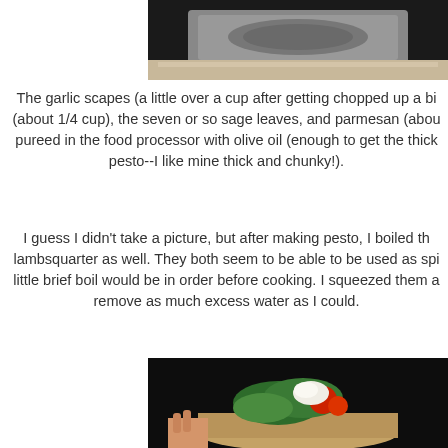[Figure (photo): Top portion of a photo showing a dark cooking pan or skillet on a light surface]
The garlic scapes (a little over a cup after getting chopped up a bit), the walnuts (about 1/4 cup), the seven or so sage leaves, and parmesan (about 1/4 cup) were pureed in the food processor with olive oil (enough to get the thickness right for pesto--I like mine thick and chunky!).
I guess I didn't take a picture, but after making pesto, I boiled the nettles and lambsquarter as well. They both seem to be able to be used as spinach, but a little brief boil would be in order before cooking. I squeezed them and tried to remove as much excess water as I could.
[Figure (photo): Photo of a hand holding an open-faced sandwich or flatbread topped with green herbs, red tomatoes, and melted white cheese, against a dark background]